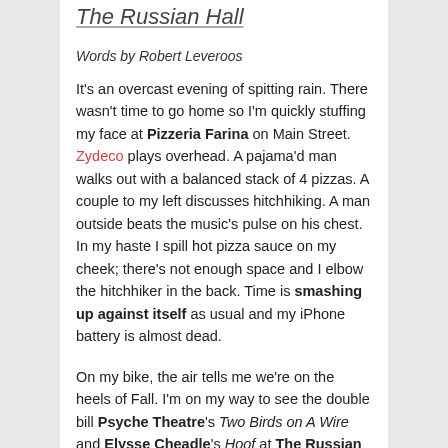The Russian Hall
Words by Robert Leveroos
It's an overcast evening of spitting rain. There wasn't time to go home so I'm quickly stuffing my face at Pizzeria Farina on Main Street. Zydeco plays overhead. A pajama'd man walks out with a balanced stack of 4 pizzas. A couple to my left discusses hitchhiking. A man outside beats the music's pulse on his chest. In my haste I spill hot pizza sauce on my cheek; there's not enough space and I elbow the hitchhiker in the back. Time is smashing up against itself as usual and my iPhone battery is almost dead.
On my bike, the air tells me we're on the heels of Fall. I'm on my way to see the double bill Psyche Theatre's Two Birds on A Wire and Elysse Cheadle's Hoof at The Russian Hall. It's one of my favourite venues in town, East Van's beloved low-rent black box. You never